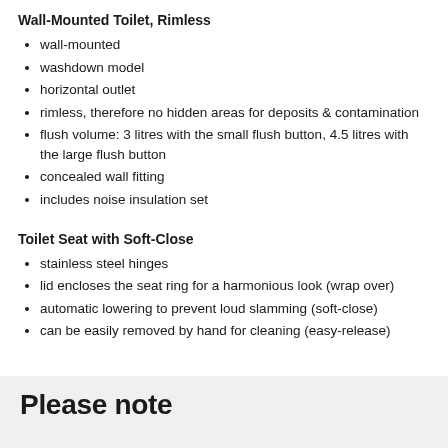Wall-Mounted Toilet, Rimless
wall-mounted
washdown model
horizontal outlet
rimless, therefore no hidden areas for deposits & contamination
flush volume: 3 litres with the small flush button, 4.5 litres with the large flush button
concealed wall fitting
includes noise insulation set
Toilet Seat with Soft-Close
stainless steel hinges
lid encloses the seat ring for a harmonious look (wrap over)
automatic lowering to prevent loud slamming (soft-close)
can be easily removed by hand for cleaning (easy-release)
Please note